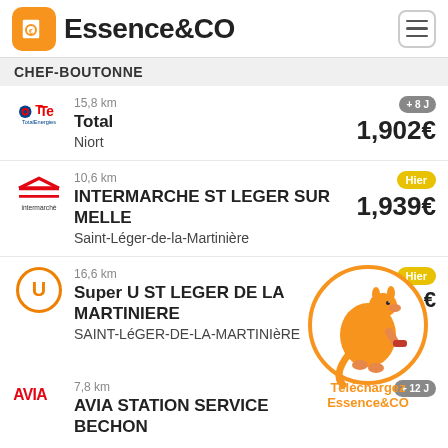Essence&CO
CHEF-BOUTONNE
15,8 km Total Niort +8J 1,902€
10,6 km INTERMARCHE ST LEGER SUR MELLE Saint-Léger-de-la-Martinière Hier 1,939€
16,6 km Super U ST LEGER DE LA MARTINIERE SAINT-LéGER-DE-LA-MARTINIèRE Hier €
[Figure (infographic): Kangaroo mascot inside orange circle with 'Téléchargez Essence&CO' promotional text]
7,8 km AVIA STATION SERVICE BECHON +12J